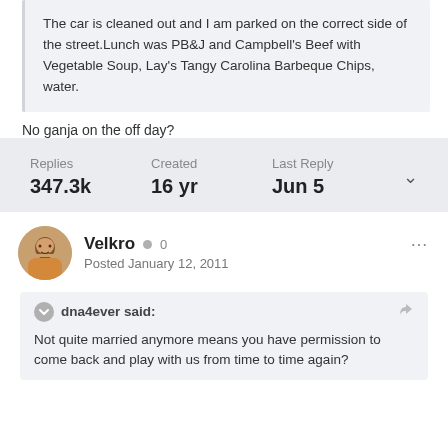The car is cleaned out and I am parked on the correct side of the street.Lunch was PB&J and Campbell's Beef with Vegetable Soup, Lay's Tangy Carolina Barbeque Chips, water.
No ganja on the off day?
Replies 347.3k   Created 16 yr   Last Reply Jun 5
Velkro  0  Posted January 12, 2011
dna4ever said:  Not quite married anymore means you have permission to come back and play with us from time to time again?